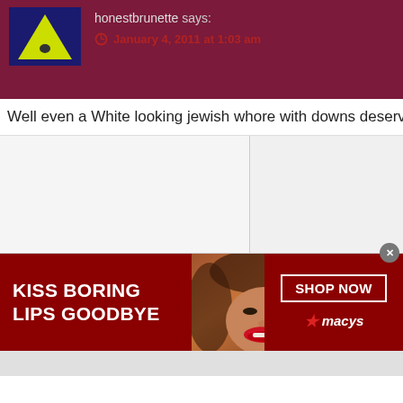honestbrunette says:
January 4, 2011 at 1:03 am
Well even a White looking jewish whore with downs deserves b
[Figure (screenshot): Advertisement banner: Kiss Boring Lips Goodbye - Macy's Shop Now]
[Figure (screenshot): Gray bar at bottom of page]